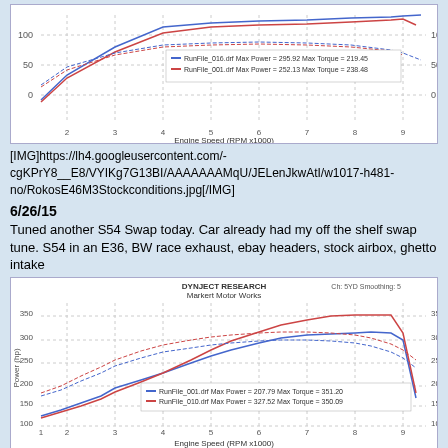[Figure (continuous-plot): Dyno chart showing power and torque curves for two runs: RunFile_016.drf Max Power=295.92 Max Torque=219.45 and RunFile_001.drf Max Power=252.13 Max Torque=238.48. X-axis: Engine Speed (RPM x1000), Y-axis: Power (hp) and torque.]
[IMG]https://lh4.googleusercontent.com/-cgKPrY8__E8/VYIKg7G13BI/AAAAAAAMqU/JELenJkwAtI/w1017-h481-no/RokosE46M3Stockconditions.jpg[/IMG]
6/26/15
Tuned another S54 Swap today. Car already had my off the shelf swap tune. S54 in an E36, BW race exhaust, ebay headers, stock airbox, ghetto intake
[Figure (continuous-plot): Dyno chart from DYNJECT RESEARCH / Markert Motor Works showing power and torque curves for two runs: RunFile_001.drf Max Power=207.79 Max Torque=351.20 and RunFile_010.drf Max Power=327.52 Max Torque=350.09. X-axis: Engine Speed (RPM x1000), Y-axis: Power (hp) left and torque right. Smoothing: 5.]
7/1/15
Finally Finished tuning a SCS52E30M3. Car came in as OBD1 S52, we baselined it then converted to OBD2 and put a AA Stg1 C38 kit on it and tuned on pump gas, then tuned again on race gas with a separate ECU. Car